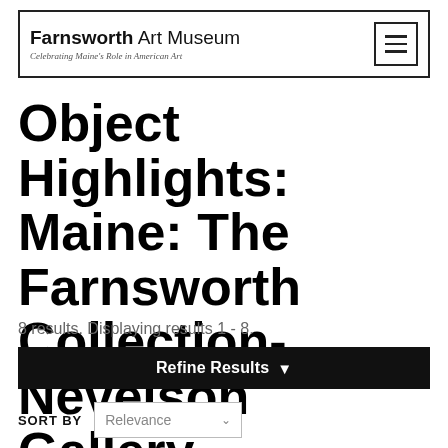Farnsworth Art Museum — Celebrating Maine's Role in American Art
Object Highlights: Maine: The Farnsworth Collection-Nevelson Gallery
8 results. Displaying results 1 - 8.
Refine Results
SORT BY   Relevance
FILTERS
Artist   Samuel Fuller